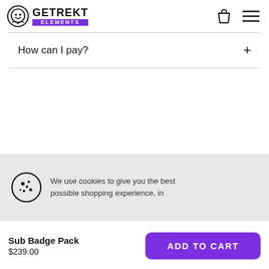GETREKT ELEMENTS
How can I pay?
We use cookies to give you the best possible shopping experience, in
Sub Badge Pack $239.00
ADD TO CART